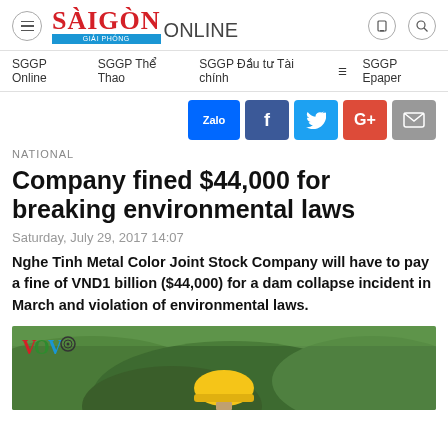SÀIGÒN ONLINE
SGGP Online  SGGP Thể Thao  SGGP Đầu tư Tài chính  SGGP Epaper
[Figure (other): Social sharing buttons: Zalo, Facebook, Twitter, Google+, Email]
NATIONAL
Company fined $44,000 for breaking environmental laws
Saturday, July 29, 2017 14:07
Nghe Tinh Metal Color Joint Stock Company will have to pay a fine of VND1 billion ($44,000) for a dam collapse incident in March and violation of environmental laws.
[Figure (photo): Photo of a worker wearing a yellow hard hat, with VOV logo visible in top left, outdoor background with green hills]